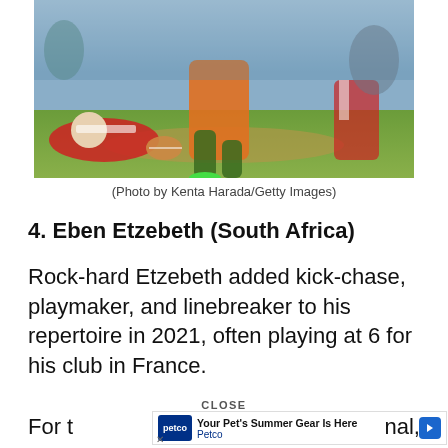[Figure (photo): Rugby players in action on the field, one player in orange/gold Australian jersey running with the ball, a Japanese player in red and white striped jersey on the ground]
(Photo by Kenta Harada/Getty Images)
4. Eben Etzebeth (South Africa)
Rock-hard Etzebeth added kick-chase, playmaker, and linebreaker to his repertoire in 2021, often playing at 6 for his club in France.
CLOSE
[Figure (other): Petco advertisement banner: 'Your Pet's Summer Gear Is Here - Petco']
For t... nal,